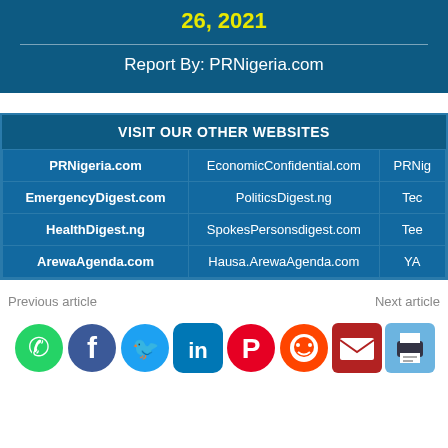26, 2021
Report By: PRNigeria.com
| VISIT OUR OTHER WEBSITES |  |  |
| --- | --- | --- |
| PRNigeria.com | EconomicConfidential.com | PRNige... |
| EmergencyDigest.com | PoliticsDigest.ng | Tec... |
| HealthDigest.ng | SpokesPersonsdigest.com | Tee... |
| ArewaAgenda.com | Hausa.ArewaAgenda.com | YA... |
Previous article
Next article
[Figure (infographic): Social share icons: WhatsApp, Facebook, Twitter, LinkedIn, Pinterest, Reddit, Email, Print]